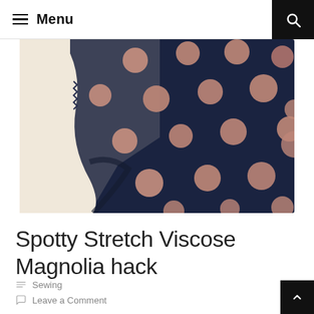Menu
[Figure (photo): Close-up photo of navy blue fabric with large pink/rose polka dots, showing the hem and sleeve area of a garment hanging against a cream wall.]
Spotty Stretch Viscose Magnolia hack
Sewing
Leave a Comment